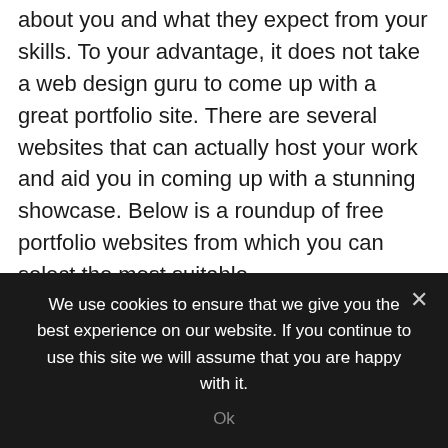about you and what they expect from your skills. To your advantage, it does not take a web design guru to come up with a great portfolio site. There are several websites that can actually host your work and aid you in coming up with a stunning showcase. Below is a roundup of free portfolio websites from which you can select the most suitable.
Behance
This is a community-driven portfolio website whose main focus is building relationships and networking. Besides providing you with a place where you can host your portfolio,
We use cookies to ensure that we give you the best experience on our website. If you continue to use this site we will assume that you are happy with it.